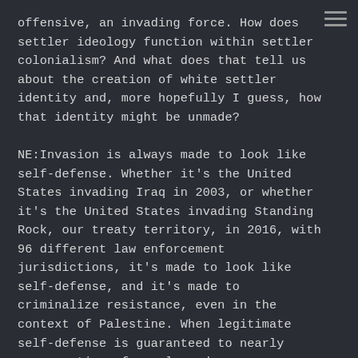offensive, an invading force. How does settler ideology function within settler colonialism? And what does that tell us about the creation of white settler identity and, more hopefully I guess, how that identity might be unmade?

NE:Invasion is always made to look like self-defense. Whether it's the United States invading Iraq in 2003, or whether it's the United States invading Standing Rock, our treaty territory, in 2016, with 96 different law enforcement jurisdictions, it's made to look like self-defense, and it's made to criminalize resistance, even in the context of Palestine. When legitimate self-defense is guaranteed to nearly every nation of people under